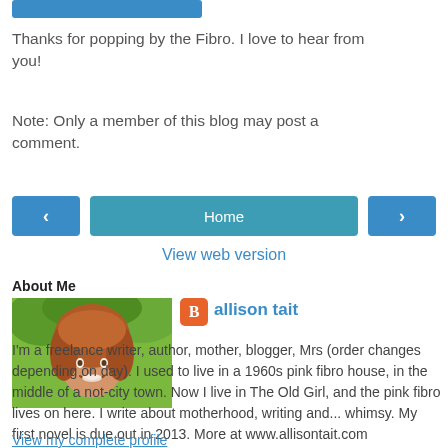[Figure (other): Blue button at top of page (partially visible)]
Thanks for popping by the Fibro. I love to hear from you!
Note: Only a member of this blog may post a comment.
[Figure (other): Navigation row with left chevron button, Home button, and right chevron button]
View web version
About Me
[Figure (photo): Profile photo of a woman with red/auburn curly hair smiling, with green foliage background. Beside it: Blogger icon (orange square with B) and author name 'allison tait' in blue.]
I'm a freelance writer, author, mother, blogger, Mrs (order changes depending on day). I used to live in a 1960s pink fibro house, in the middle of a not-city town. Now I live in The Old Girl, and the pink fibro lives on here. I write about motherhood, writing and... whimsy. My first novel is due out in 2013. More at www.allisontait.com
View my complete profile